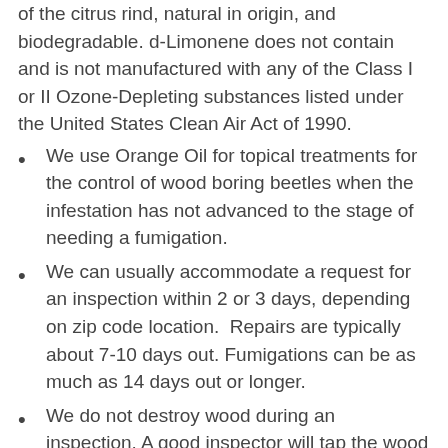of the citrus rind, natural in origin, and biodegradable. d-Limonene does not contain and is not manufactured with any of the Class I or II Ozone-Depleting substances listed under the United States Clean Air Act of 1990.
We use Orange Oil for topical treatments for the control of wood boring beetles when the infestation has not advanced to the stage of needing a fumigation.
We can usually accommodate a request for an inspection within 2 or 3 days, depending on zip code location.  Repairs are typically about 7-10 days out. Fumigations can be as much as 14 days out or longer.
We do not destroy wood during an inspection. A good inspector will tap the wood with a blunt probing device to determine if the wood is damaged or not.